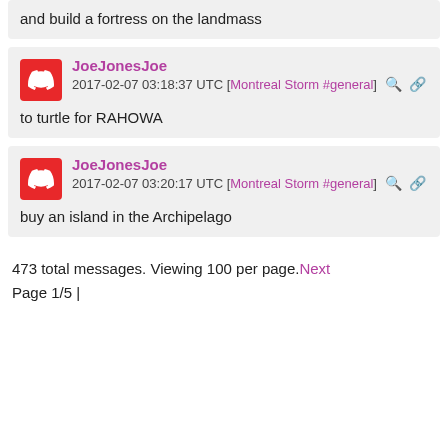and build a fortress on the landmass
JoeJonesJoe
2017-02-07 03:18:37 UTC [Montreal Storm #general]
to turtle for RAHOWA
JoeJonesJoe
2017-02-07 03:20:17 UTC [Montreal Storm #general]
buy an island in the Archipelago
473 total messages. Viewing 100 per page. Next
Page 1/5 |